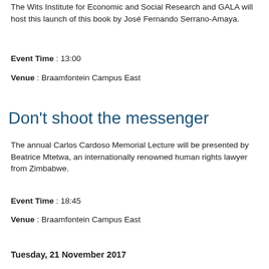The Wits Institute for Economic and Social Research and GALA will host this launch of this book by José Fernando Serrano-Amaya.
Event Time : 13:00
Venue : Braamfontein Campus East
Don't shoot the messenger
The annual Carlos Cardoso Memorial Lecture will be presented by Beatrice Mtetwa, an internationally renowned human rights lawyer from Zimbabwe.
Event Time : 18:45
Venue : Braamfontein Campus East
Tuesday, 21 November 2017